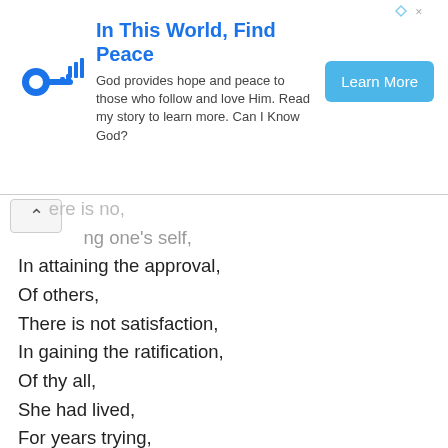[Figure (other): Advertisement banner: 'In This World, Find Peace' with key icon, descriptive text about God providing hope and peace, and a 'Learn More' button.]
...ere is no,
...ng one's self,
In attaining the approval,
Of others,
There is not satisfaction,
In gaining the ratification,
Of thy all,
She had lived,
For years trying,
to gain,
What was only,
A road of pain,
Trying to squeeze inside,
The bodice of society,
The opinions of all,
Little did she knew,
It was never worth the fall.